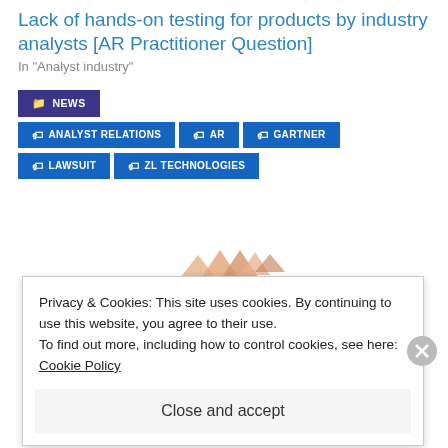Lack of hands-on testing for products by industry analysts [AR Practitioner Question]
In "Analyst industry"
NEWS
ANALYST RELATIONS
AR
GARTNER
LAWSUIT
ZL TECHNOLOGIES
Privacy & Cookies: This site uses cookies. By continuing to use this website, you agree to their use.
To find out more, including how to control cookies, see here: Cookie Policy
Close and accept